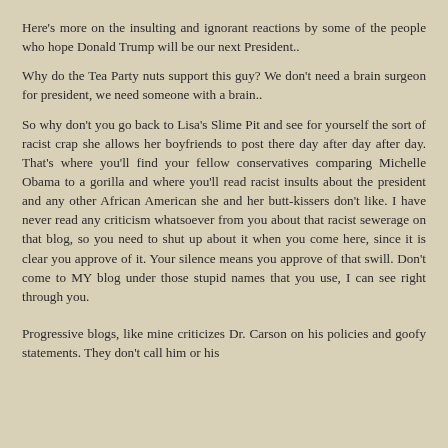Here's more on the insulting and ignorant reactions by some of the people who hope Donald Trump will be our next President..
Why do the Tea Party nuts support this guy? We don't need a brain surgeon for president, we need someone with a brain..
So why don't you go back to Lisa's Slime Pit and see for yourself the sort of racist crap she allows her boyfriends to post there day after day after day. That's where you'll find your fellow conservatives comparing Michelle Obama to a gorilla and where you'll read racist insults about the president and any other African American she and her butt-kissers don't like. I have never read any criticism whatsoever from you about that racist sewerage on that blog, so you need to shut up about it when you come here, since it is clear you approve of it. Your silence means you approve of that swill. Don't come to MY blog under those stupid names that you use, I can see right through you.
Progressive blogs, like mine criticizes Dr. Carson on his policies and goofy statements. They don't call him or his